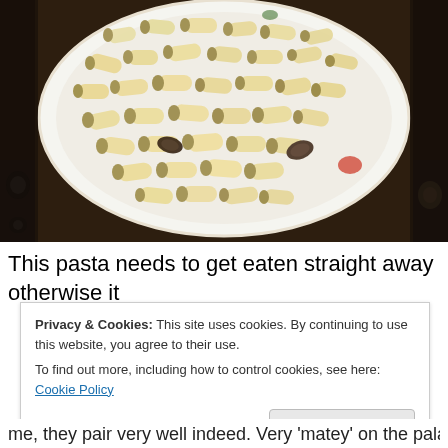[Figure (photo): A white bowl/plate with decorative pattern on the rim filled with rigatoni pasta (plain, lightly sauced), placed on a stove top with burners visible in the background.]
This pasta needs to get eaten straight away otherwise it
Privacy & Cookies: This site uses cookies. By continuing to use this website, you agree to their use.
To find out more, including how to control cookies, see here: Cookie Policy
Close and accept
me, they pair very well indeed. Very 'matey' on the palate.